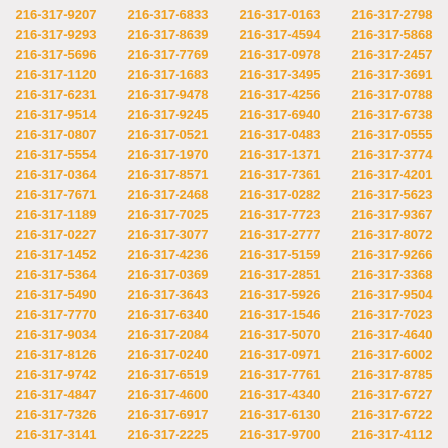216-317-9207 216-317-6833 216-317-0163 216-317-2798 216-317-9293 216-317-8639 216-317-4594 216-317-5868 216-317-5696 216-317-7769 216-317-0978 216-317-2457 216-317-1120 216-317-1683 216-317-3495 216-317-3691 216-317-6231 216-317-9478 216-317-4256 216-317-0788 216-317-9514 216-317-9245 216-317-6940 216-317-6738 216-317-0807 216-317-0521 216-317-0483 216-317-0555 216-317-5554 216-317-1970 216-317-1371 216-317-3774 216-317-0364 216-317-8571 216-317-7361 216-317-4201 216-317-7671 216-317-2468 216-317-0282 216-317-5623 216-317-1189 216-317-7025 216-317-7723 216-317-9367 216-317-0227 216-317-3077 216-317-2777 216-317-8072 216-317-1452 216-317-4236 216-317-5159 216-317-9266 216-317-5364 216-317-0369 216-317-2851 216-317-3368 216-317-5490 216-317-3643 216-317-5926 216-317-9504 216-317-7770 216-317-6340 216-317-1546 216-317-7023 216-317-9034 216-317-2084 216-317-5070 216-317-4640 216-317-8126 216-317-0240 216-317-0971 216-317-6002 216-317-9742 216-317-6519 216-317-7761 216-317-8785 216-317-4847 216-317-4600 216-317-4340 216-317-6727 216-317-7326 216-317-6917 216-317-6130 216-317-6722 216-317-3141 216-317-2225 216-317-9700 216-317-4112 216-317-5748 216-317-1220 216-317-0601 216-317-3981 216-317-6622 216-317-2424 216-317-5084 216-317-5213 216-317-3197 216-317-1282 216-317-1217 216-317-4511 216-317-0080 216-317-6343 216-317-8470 216-317-2038 216-317-0322 216-317-6862 216-317-4959 216-317-9358 216-317-9665 216-317-6179 216-317-4689 216-317-1980 216-317-6181 216-317-2415 216-317-1921 216-317-8350 216-317-5665 216-317-0455 216-317-7940 216-317-5559